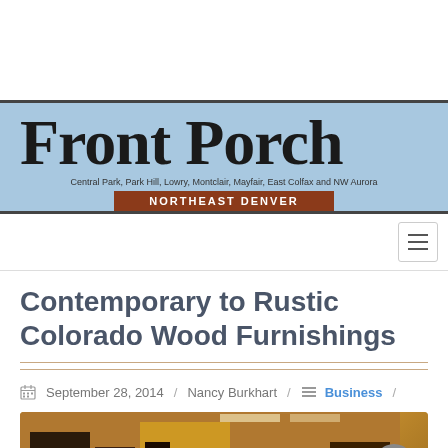[Figure (logo): Front Porch newspaper masthead logo with blue striped background. Large serif text 'Front Porch', subtitle 'Central Park, Park Hill, Lowry, Montclair, Mayfair, East Colfax and NW Aurora', and orange-red bar reading 'NORTHEAST DENVER']
Contemporary to Rustic Colorado Wood Furnishings
September 28, 2014 / Nancy Burkhart / Business /
[Figure (photo): Interior photo of a furniture showroom with wooden furnishings and warm lighting]